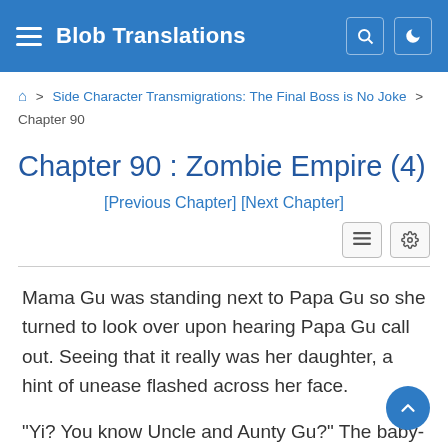Blob Translations
⌂ > Side Character Transmigrations: The Final Boss is No Joke > Chapter 90
Chapter 90 : Zombie Empire (4)
[Previous Chapter] [Next Chapter]
Mama Gu was standing next to Papa Gu so she turned to look over upon hearing Papa Gu call out. Seeing that it really was her daughter, a hint of unease flashed across her face.
“Yi? You know Uncle and Aunty Gu?” The baby-faced man looked at Shi Sheng in surprised. ‘The person I saved at